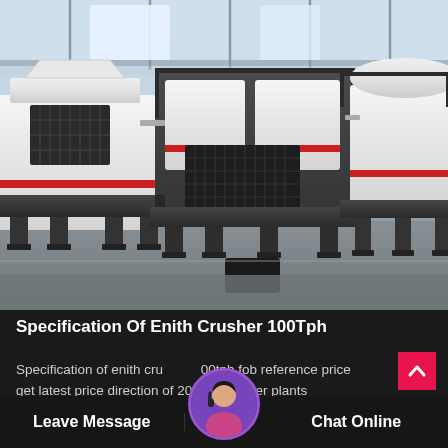[Figure (photo): Industrial crushing machinery (VSI sand making machines / impact crushers) lined up in a large factory/warehouse. Machines are white/cream colored with red accent stripes and black steel frames/platforms. Bright industrial ceiling with skylights visible in background.]
Specification Of Enith Crusher 100Tph
Specification of enith crusher 100tph fob reference price get latest price direction of 200tph crusher plants ilvicoletto1563 crusher plant 200 tph
Leave Message
Chat Online